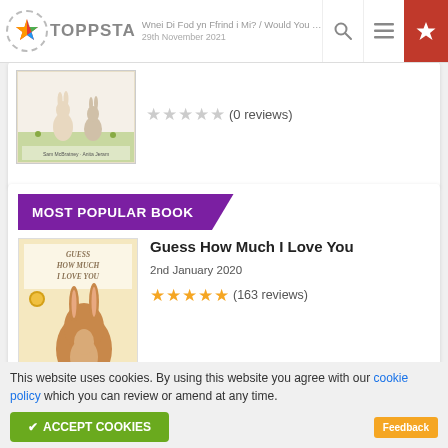Toppsta - Wnei Di Fod yn Ffrind i Mi? / Would You Be My Friend? - 29th November 2021
[Figure (screenshot): Book cover for 'Wnei Di Fod yn Ffrind i Mi?' with rabbit illustrations. 0 star reviews shown.]
(0 reviews)
MOST POPULAR BOOK
[Figure (illustration): Book cover for Guess How Much I Love You - orange and brown rabbit illustration]
Guess How Much I Love You
2nd January 2020
(163 reviews)
This website uses cookies. By using this website you agree with our cookie policy which you can review or amend at any time.
✔ ACCEPT COOKIES